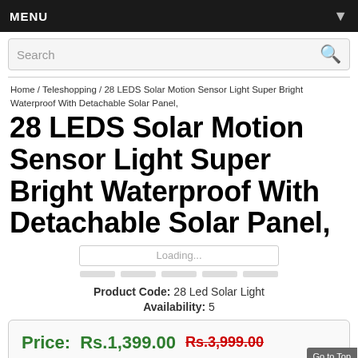MENU
Search
Home / Teleshopping / 28 LEDS Solar Motion Sensor Light Super Bright Waterproof With Detachable Solar Panel,
28 LEDS Solar Motion Sensor Light Super Bright Waterproof With Detachable Solar Panel,
[Figure (other): Image loading placeholder with loading bar and thumbnail strip]
Product Code: 28 Led Solar Light
Availability: 5
Price:   Rs.1,399.00   Rs.3,999.00